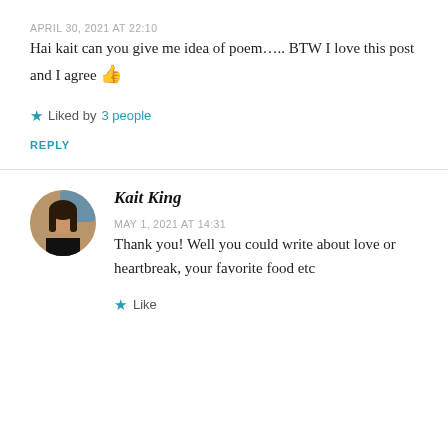APRIL 30, 2021 AT 22:10
Hai kait can you give me idea of poem….. BTW I love this post and I agree 👍
★ Liked by 3 people
REPLY
[Figure (photo): Circular avatar photo of Kait King, a woman with dark hair, wearing a black top, against a background with a blue element]
Kait King
MAY 1, 2021 AT 14:31
Thank you! Well you could write about love or heartbreak, your favorite food etc
★ Like